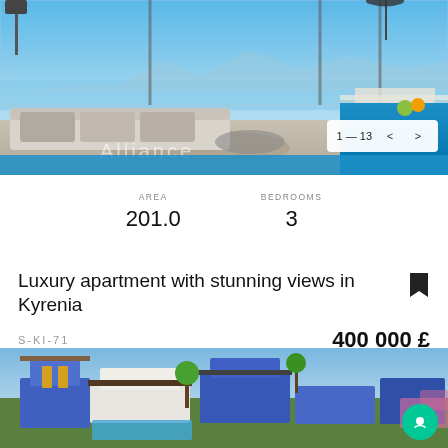[Figure (photo): Interior photo of a modern luxury living room with large windows showing ocean view, white sofa, and open plan dining area. 'Alliance' watermark visible. Image counter shows 1-13 with navigation arrows.]
AREA
201.0
BEDROOMS
3
Luxury apartment with stunning views in Kyrenia
S-KI-71
400 000 £
[Figure (photo): Aerial/overhead render of a modern blue and white villa with pool, garden, and surrounding landscape.]